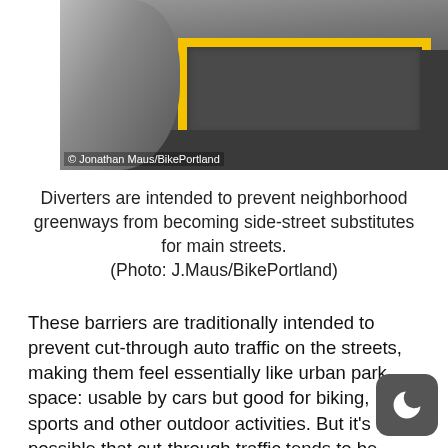[Figure (photo): Photo of a bicycle and a raised pavement diverter with yellow markings on a street. Photo credit: Jonathan Maus/BikePortland.]
Diverters are intended to prevent neighborhood greenways from becoming side-street substitutes for main streets. (Photo: J.Maus/BikePortland)
These barriers are traditionally intended to prevent cut-through auto traffic on the streets, making them feel essentially like urban park space: usable by cars but good for biking, sports and other outdoor activities. But it’s also possible that cut-through traffic tends to be inherently faster-moving than local traffic, so diverters could reduce spe too.